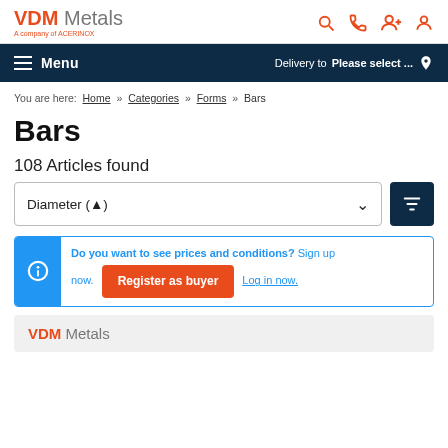VDM Metals — A company of ACERINOX
Menu  Delivery to Please select ...
You are here: Home » Categories » Forms » Bars
Bars
108 Articles found
Diameter (▲)
Do you want to see prices and conditions? Sign up now.  Register as buyer  Log in now.